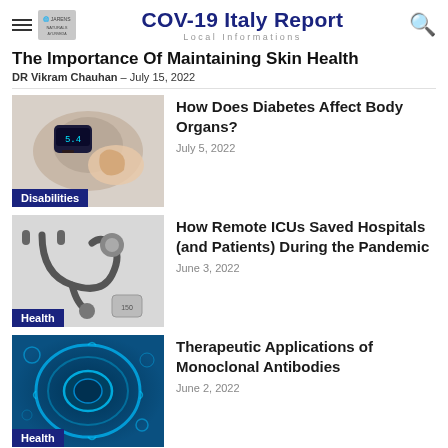COV-19 Italy Report — Local Informations
The Importance Of Maintaining Skin Health
DR Vikram Chauhan – July 15, 2022
[Figure (photo): Person using a blood glucose meter, hand close-up. Category label: Disabilities]
How Does Diabetes Affect Body Organs?
July 5, 2022
[Figure (photo): Stethoscope on white background. Category label: Health]
How Remote ICUs Saved Hospitals (and Patients) During the Pandemic
June 3, 2022
[Figure (photo): Blue microscopic cell illustration. Category label: Health]
Therapeutic Applications of Monoclonal Antibodies
June 2, 2022